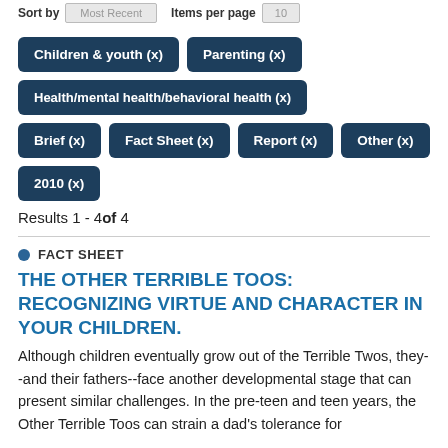Sort by Most Recent   Items per page 10
Children & youth (x)
Parenting (x)
Health/mental health/behavioral health (x)
Brief (x)
Fact Sheet (x)
Report (x)
Other (x)
2010 (x)
Results 1 - 4 of 4
FACT SHEET
THE OTHER TERRIBLE TOOS: RECOGNIZING VIRTUE AND CHARACTER IN YOUR CHILDREN.
Although children eventually grow out of the Terrible Twos, they--and their fathers--face another developmental stage that can present similar challenges. In the pre-teen and teen years, the Other Terrible Toos can strain a dad's tolerance for